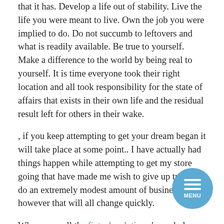that it has. Develop a life out of stability. Live the life you were meant to live. Own the job you were implied to do. Do not succumb to leftovers and what is readily available. Be true to yourself. Make a difference to the world by being real to yourself. It is time everyone took their right location and all took responsibility for the state of affairs that exists in their own life and the residual result left for others in their wake.
, if you keep attempting to get your dream began it will take place at some point.. I have actually had things happen while attempting to get my store going that have made me wish to give up trying. I do an extremely modest amount of business today, however that will all change quickly.
When you call the fintech solutions 's workplace, how are you dealt with? Is this personnel hurried or they treat you like a welcomed visitor? Are they